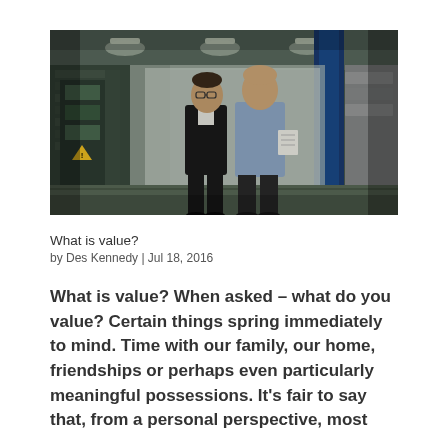[Figure (photo): Two men walking through an industrial factory/warehouse setting. One man wears a dark jacket, the other wears a light blue shirt and holds documents. Industrial machinery and shelving visible in the background with blue structural columns.]
What is value?
by Des Kennedy | Jul 18, 2016
What is value? When asked – what do you value? Certain things spring immediately to mind. Time with our family, our home, friendships or perhaps even particularly meaningful possessions. It's fair to say that, from a personal perspective, most